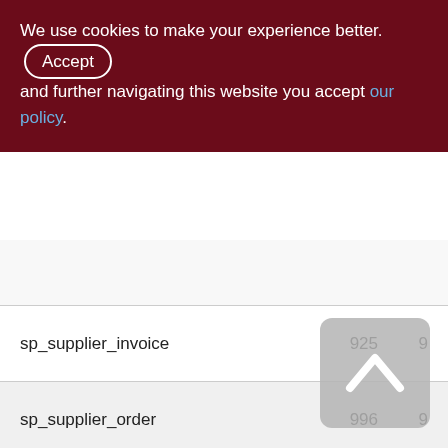We use cookies to make your experience better. By accepting and further navigating this website you accept our policy.
| Name | Col1 | Col2 |
| --- | --- | --- |
| sp_supplier_invoice | 925 | 9 |
| sp_supplier_order | 996 | 9 |
| srv_find_qd_qs_mism | 18688 | 162 |
| srv_make_invnt_saldo | 280 | 2 |
| srv_make_money_saldo | 255 | 2 |